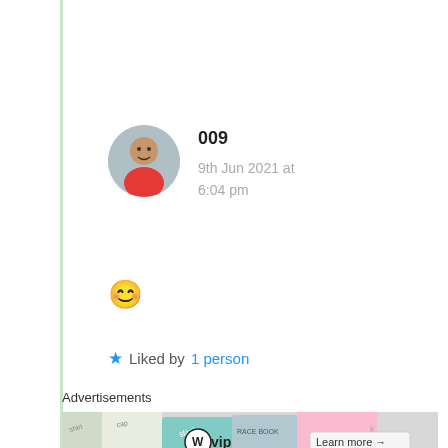[Figure (photo): Circular avatar photo of a person in a red shirt]
009
9th Jun 2021 at 6:04 pm
😊
★ Liked by 1 person
Advertisements
[Figure (screenshot): Advertisement banner with WP VIP logo and Learn more arrow button]
Privacy & Cookies: This site uses cookies. By continuing to use this website, you agree to their use.
To find out more, including how to control cookies, see here: Cookie Policy
Close and accept